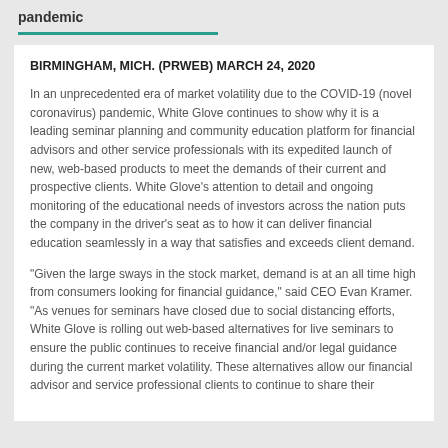pandemic
BIRMINGHAM, MICH. (PRWEB) MARCH 24, 2020
In an unprecedented era of market volatility due to the COVID-19 (novel coronavirus) pandemic, White Glove continues to show why it is a leading seminar planning and community education platform for financial advisors and other service professionals with its expedited launch of new, web-based products to meet the demands of their current and prospective clients. White Glove's attention to detail and ongoing monitoring of the educational needs of investors across the nation puts the company in the driver's seat as to how it can deliver financial education seamlessly in a way that satisfies and exceeds client demand.
“Given the large sways in the stock market, demand is at an all time high from consumers looking for financial guidance,” said CEO Evan Kramer. “As venues for seminars have closed due to social distancing efforts, White Glove is rolling out web-based alternatives for live seminars to ensure the public continues to receive financial and/or legal guidance during the current market volatility. These alternatives allow our financial advisor and service professional clients to continue to share their